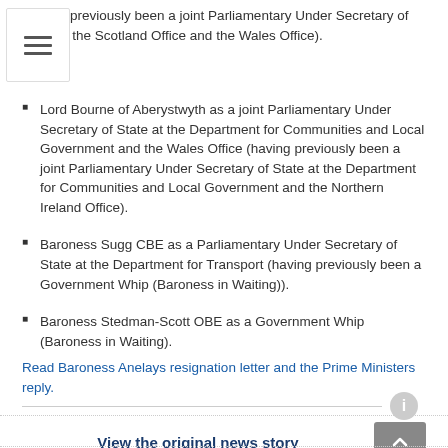(having previously been a joint Parliamentary Under Secretary of State at the Scotland Office and the Wales Office).
Lord Bourne of Aberystwyth as a joint Parliamentary Under Secretary of State at the Department for Communities and Local Government and the Wales Office (having previously been a joint Parliamentary Under Secretary of State at the Department for Communities and Local Government and the Northern Ireland Office).
Baroness Sugg CBE as a Parliamentary Under Secretary of State at the Department for Transport (having previously been a Government Whip (Baroness in Waiting)).
Baroness Stedman-Scott OBE as a Government Whip (Baroness in Waiting).
Read Baroness Anelays resignation letter and the Prime Ministers reply.
View the original news story